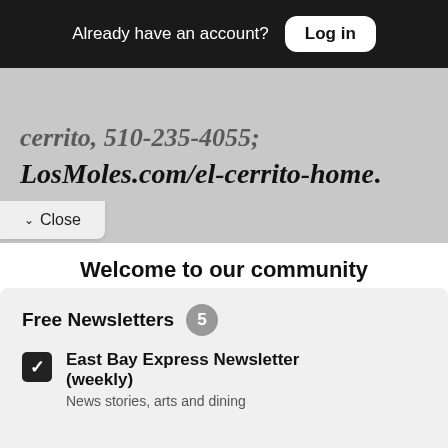Already have an account? Log in
cerrito, 510-235-4055, LosMoles.com/el-cerrito-home.
Close
Welcome to our community
Sign in or register for email updates and this box won't appear again. We're grateful for your support.
By registering you confirm you are 21+.
Free Newsletters 5
East Bay Express Newsletter (weekly)
News stories, arts and dining